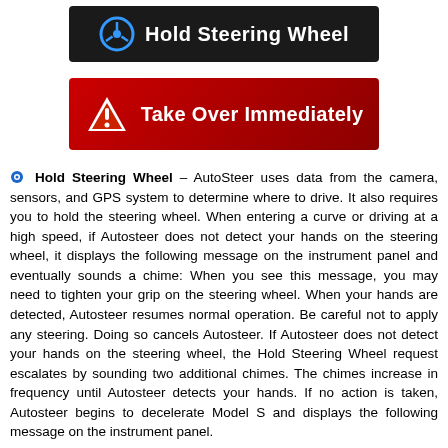[Figure (screenshot): Hold Steering Wheel notification banner — black background with blue steering wheel icon and white bold text 'Hold Steering Wheel']
[Figure (screenshot): Take Over Immediately alert banner — dark red gradient background with white triangle warning icon and white bold text 'Take Over Immediately']
Hold Steering Wheel – AutoSteer uses data from the camera, sensors, and GPS system to determine where to drive. It also requires you to hold the steering wheel. When entering a curve or driving at a high speed, if Autosteer does not detect your hands on the steering wheel, it displays the following message on the instrument panel and eventually sounds a chime: When you see this message, you may need to tighten your grip on the steering wheel. When your hands are detected, Autosteer resumes normal operation. Be careful not to apply any steering. Doing so cancels Autosteer. If Autosteer does not detect your hands on the steering wheel, the Hold Steering Wheel request escalates by sounding two additional chimes. The chimes increase in frequency until Autosteer detects your hands. If no action is taken, Autosteer begins to decelerate Model S and displays the following message on the instrument panel.